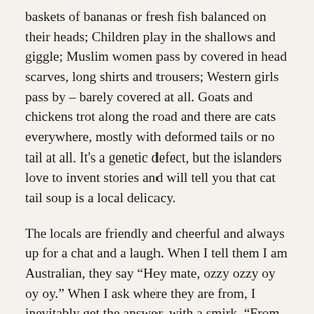baskets of bananas or fresh fish balanced on their heads; Children play in the shallows and giggle; Muslim women pass by covered in head scarves, long shirts and trousers; Western girls pass by – barely covered at all. Goats and chickens trot along the road and there are cats everywhere, mostly with deformed tails or no tail at all. It's a genetic defect, but the islanders love to invent stories and will tell you that cat tail soup is a local delicacy.
The locals are friendly and cheerful and always up for a chat and a laugh. When I tell them I am Australian, they say “Hey mate, ozzy ozzy oy oy oy.” When I ask where they are from, I inevitably get the answer, with a smirk, “From my mother.” The groups of local Casanovas (also known as big mosquitoes) that hang around can be a little intimidating and prey on the western girls. “You want boyfriend,” “you want free transport,” “you want